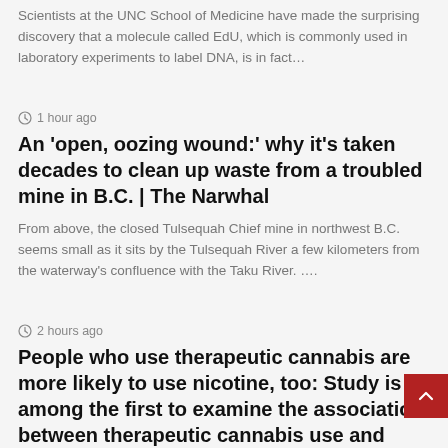Scientists at the UNC School of Medicine have made the surprising discovery that a molecule called EdU, which is commonly used in laboratory experiments to label DNA, is in fact…
1 hour ago
An ‘open, oozing wound:’ why it’s taken decades to clean up waste from a troubled mine in B.C. | The Narwhal
From above, the closed Tulsequah Chief mine in northwest B.C. seems small as it sits by the Tulsequah River a few kilometers from the waterway’s confluence with the Taku River. ….
2 hours ago
People who use therapeutic cannabis are more likely to use nicotine, too: Study is among the first to examine the association between therapeutic cannabis use and nicotine use
People who use therapeutic cannabis are more likely to also use